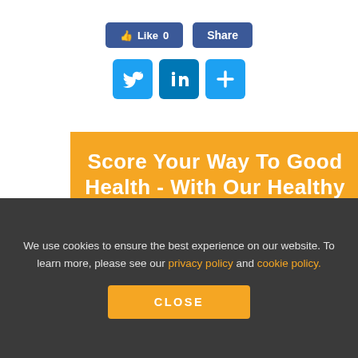[Figure (screenshot): Social sharing buttons: Facebook Like (0) and Share buttons in blue, plus Twitter, LinkedIn, and + buttons below]
[Figure (infographic): Orange banner reading 'Score Your Way To Good Health - With Our Healthy Lifestyle Plan' in bold white text, with a small scorecard image at the bottom]
We use cookies to ensure the best experience on our website. To learn more, please see our privacy policy and cookie policy.
CLOSE